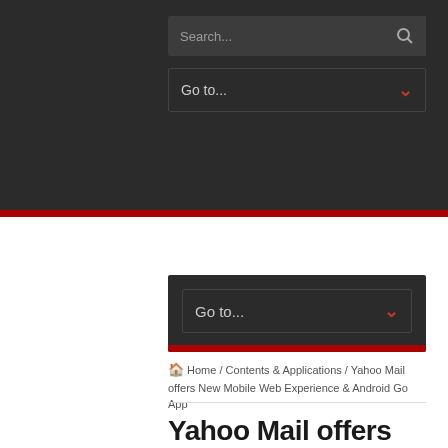Search...  Go to...
Go to...
🏠 Home / Contents & Applications / Yahoo Mail offers New Mobile Web Experience & Android Go App
Yahoo Mail offers New Mobile Web Experience & Android Go App